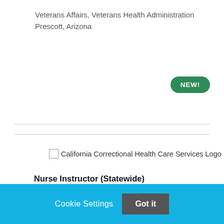Veterans Affairs, Veterans Health Administration
Prescott, Arizona
[Figure (logo): California Correctional Health Care Services Logo]
Nurse Instructor (Statewide)
Cookie Settings   Got it
We use cookies so that we can remember you and understand how you use our site. If you do not agree with our use of cookies, please change the current settings found in our Cookie Policy. Otherwise, you agree to the use of the cookies as they are currently set.